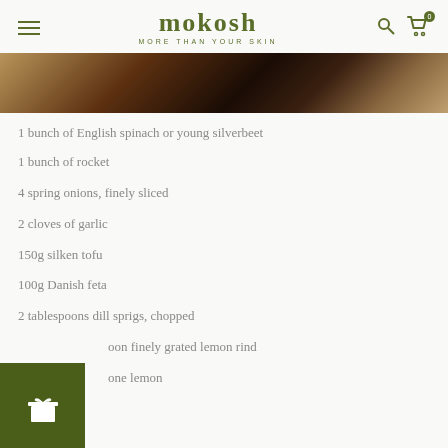mokosh MORE THAN YOUR SKIN
[Figure (photo): Close-up photo of food in a bowl on a wooden surface]
1 bunch of English spinach or young silverbeet
1 bunch of rocket
4 spring onions, finely sliced
2 cloves of garlic
150g silken tofu
100g Danish feta
2 tablespoons dill sprigs, chopped
oon finely grated lemon rind
one lemon
[Figure (illustration): Green gift/reward widget button with gift box icon]